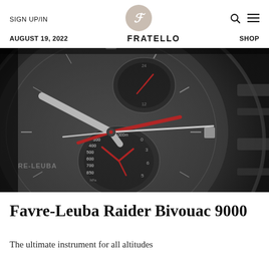SIGN UP/IN | FRATELLO | SHOP | AUGUST 19, 2022
[Figure (photo): Close-up macro photograph of a Favre-Leuba Raider Bivouac 9000 watch dial in black and white with red hands, showing sub-dials with altitude markings (300, 400, 500, 600, 700, 850 hPa, x1000m) and hour markers]
Favre-Leuba Raider Bivouac 9000
The ultimate instrument for all altitudes